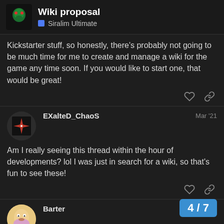Wiki proposal — Siralim Ultimate
Kickstarter stuff, so honestly, there's probably not going to be much time for me to create and manage a wiki for the game any time soon. If you would like to start one, that would be great!
EXalteD_ChaoS — Mar '21
Am I really seeing this thread within the hour of developments? lol I was just in search for a wiki, so that's fun to see these!
Barter — Mar '21
Did you manage to datamine the same inf…
4/7